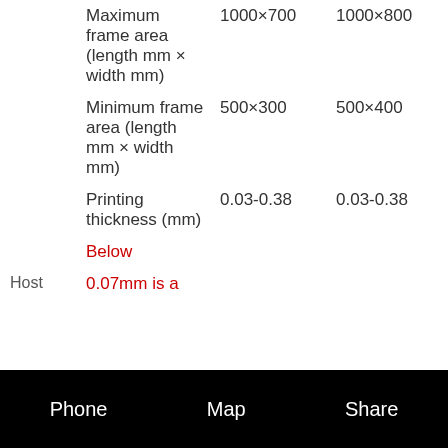|  | Spec | Col1 | Col2 | Col3 |
| --- | --- | --- | --- | --- |
|  | Maximum frame area (length mm × width mm) | 1000×700 | 1000×800 | 1100×... |
|  | Minimum frame area (length mm × width mm) | 500×300 | 500×400 | 500×... |
|  | Printing thickness (mm) | 0.03-0.38 | 0.03-0.38 | 0.03-... |
|  | Below |  |  |  |
| Host | 0.07mm is a |  |  |  |
Phone    Map    Share